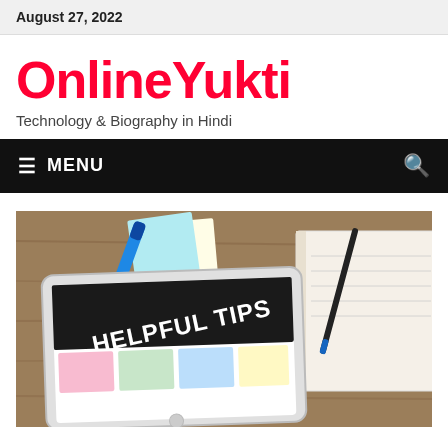August 27, 2022
OnlineYukti
Technology & Biography in Hindi
≡  MENU
[Figure (photo): A tablet resting on a wooden desk showing 'HELPFUL TIPS' on its screen, with a blue highlighter pen, sticky notes, and a pen on a notebook beside it.]